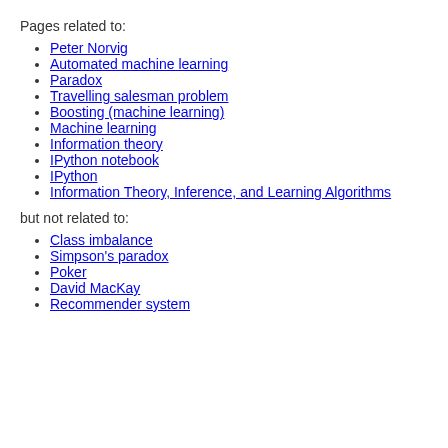Pages related to:
Peter Norvig
Automated machine learning
Paradox
Travelling salesman problem
Boosting (machine learning)
Machine learning
Information theory
IPython notebook
IPython
Information Theory, Inference, and Learning Algorithms
but not related to:
Class imbalance
Simpson's paradox
Poker
David MacKay
Recommender system